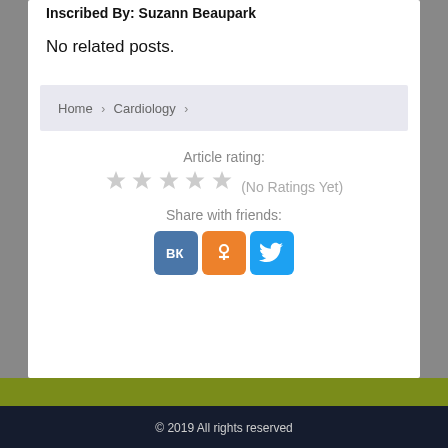Inscribed By: Suzann Beaupark
No related posts.
Home › Cardiology ›
Article rating:
★★★★★ (No Ratings Yet)
Share with friends:
[Figure (infographic): Three social media share buttons: VK (blue), OK/Odnoklassniki (orange), Twitter (light blue)]
© 2019 All rights reserved